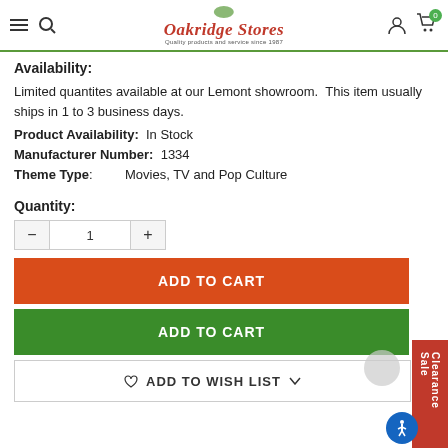Oakridge Stores — Quality products and service since 1987
Availability:
Limited quantites available at our Lemont showroom.  This item usually ships in 1 to 3 business days.
Product Availability:  In Stock
Manufacturer Number:  1334
Theme Type:         Movies, TV and Pop Culture
Quantity:
ADD TO CART
ADD TO CART
ADD TO WISH LIST
Clearance Sale